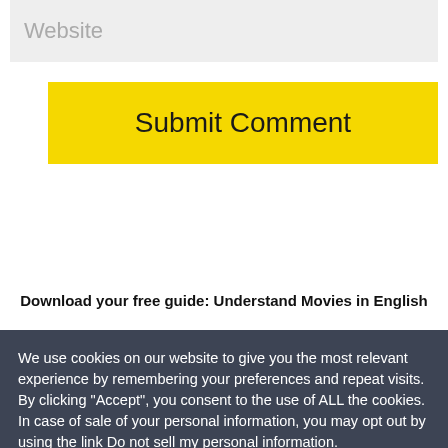Website
Submit Comment
Download your free guide: Understand Movies in English
We use cookies on our website to give you the most relevant experience by remembering your preferences and repeat visits. By clicking “Accept”, you consent to the use of ALL the cookies.
In case of sale of your personal information, you may opt out by using the link Do not sell my personal information.
Cookie settings
ACCEPT